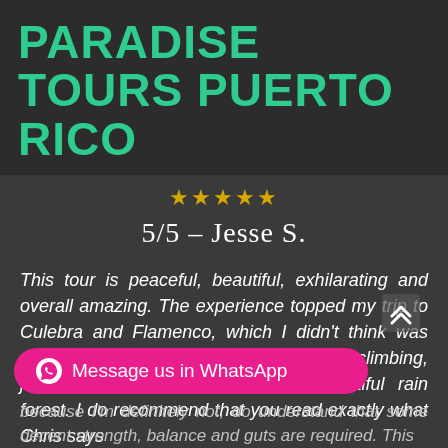PARADISE TOURS PUERTO RICO
[Figure (other): Five star rating icons in yellow/gold]
5/5 – Jesse S.
This tour is peaceful, beautiful, exhilarating and overall amazing. The experience topped my trip to Culebra and Flamenco, which I didn't think was possible. I truly felt like a kid again climbing, jumping and swinging into PR's beautiful rain forest. I do recommend that you read exactly what Chris says
[Figure (other): WhatsApp message button - pink rounded button with WhatsApp icon and text: Message us in WhatsApp]
because I'm definitely not, do understand that some decent strength, balance and guts are required. This